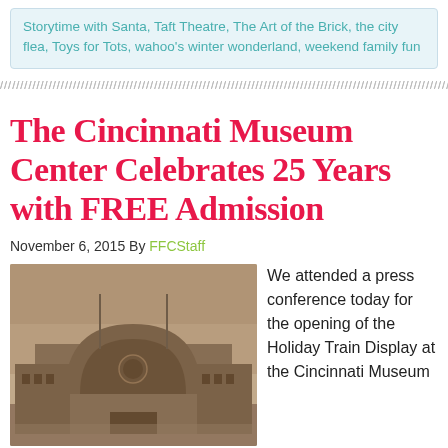Storytime with Santa, Taft Theatre, The Art of the Brick, the city flea, Toys for Tots, wahoo's winter wonderland, weekend family fun
The Cincinnati Museum Center Celebrates 25 Years with FREE Admission
November 6, 2015 By FFCStaff
[Figure (photo): Sepia-toned photograph of the Cincinnati Museum Center (Union Terminal) building exterior showing the iconic art deco arch facade, flag poles, and overcast sky]
We attended a press conference today for the opening of the Holiday Train Display at the Cincinnati Museum